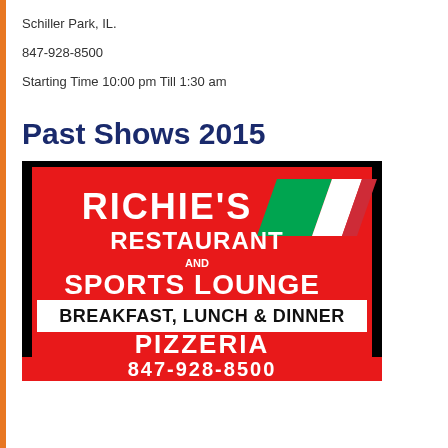Schiller Park, IL.
847-928-8500
Starting Time 10:00 pm Till 1:30 am
Past Shows 2015
[Figure (photo): Sign for Richie's Restaurant and Sports Lounge, showing red illuminated sign with text: RICHIE'S RESTAURANT AND SPORTS LOUNGE, BREAKFAST, LUNCH & DINNER, PIZZERIA, Delivery & Catering, 847-928-8500, with Italian flag graphic]